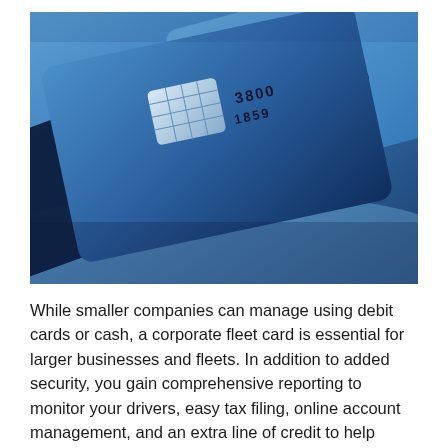[Figure (photo): Close-up photograph of two blue credit/debit cards with EMV chip visible, one overlapping the other, on a blue-toned surface. Card numbers partially visible: 3800 and 1859.]
While smaller companies can manage using debit cards or cash, a corporate fleet card is essential for larger businesses and fleets. In addition to added security, you gain comprehensive reporting to monitor your drivers, easy tax filing, online account management, and an extra line of credit to help balance company finances during